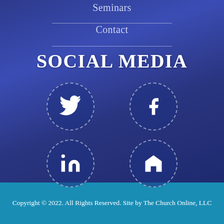Seminars
Contact
SOCIAL MEDIA
[Figure (infographic): Four social media icon circles in a 2x2 grid: Twitter (bird icon), Facebook (f icon), LinkedIn (in icon), Home/website (house icon). Each icon is white on a dark blue semi-transparent circle with dashed border.]
Copyright © 2022. All Rights Reserved. Site by The Church Online, LLC